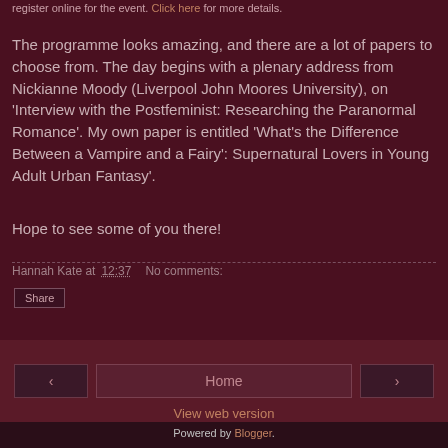register online for the event. Click here for more details.
The programme looks amazing, and there are a lot of papers to choose from. The day begins with a plenary address from Nickianne Moody (Liverpool John Moores University), on 'Interview with the Postfeminist: Researching the Paranormal Romance'. My own paper is entitled 'What's the Difference Between a Vampire and a Fairy': Supernatural Lovers in Young Adult Urban Fantasy'.
Hope to see some of you there!
Hannah Kate at 12:37   No comments:
Share
‹   Home   ›
View web version
Powered by Blogger.